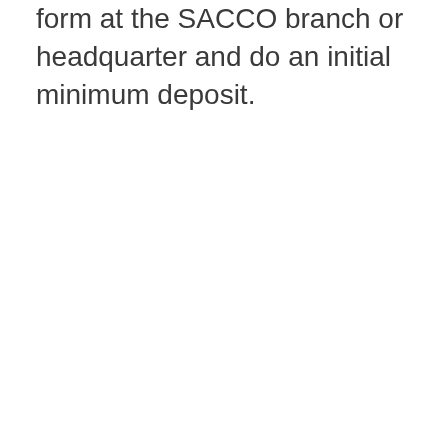form at the SACCO branch or headquarter and do an initial minimum deposit.